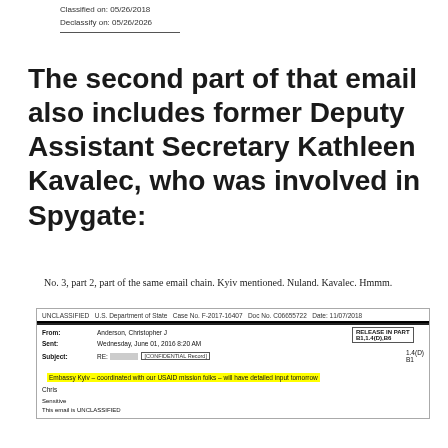Classified on: 05/26/2018
Declassify on: 05/26/2026
The second part of that email also includes former Deputy Assistant Secretary Kathleen Kavalec, who was involved in Spygate:
No. 3, part 2, part of the same email chain. Kyiv mentioned. Nuland. Kavalec. Hmmm.
| From: | To: | Sent: | Subject: |
| --- | --- | --- | --- |
| Anderson, Christopher J |  | Wednesday, June 01, 2016 8:20 AM | RE: [CONFIDENTIAL Record] |
Embassy Kyiv – coordinated with our USAID mission folks – will have detailed input tomorrow
Chris
Sensitive
This email is UNCLASSIFIED